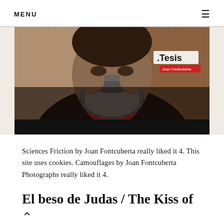MENU
[Figure (photo): Partial view of a bearded man wearing a red shirt and dark jacket. A 'Tesis' badge and 'Joan Fontcuberta' name tag are visible in the upper right. The lower portion of the image is a black bar.]
Sciences Friction by Joan Fontcuberta really liked it 4. This site uses cookies. Camouflages by Joan Fontcuberta Photographs really liked it 4.
El beso de Judas / The Kiss of Judas : Joan Fontcuberta :